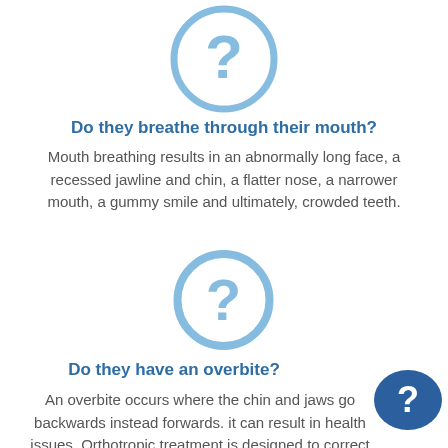[Figure (illustration): Light blue circle with question mark icon]
Do they breathe through their mouth?
Mouth breathing results in an abnormally long face, a recessed jawline and chin, a flatter nose, a narrower mouth, a gummy smile and ultimately, crowded teeth.
[Figure (illustration): Light blue circle with question mark icon]
Do they have an overbite?
An overbite occurs where the chin and jaws go backwards instead forwards. it can result in health issues. Orthotropic treatment is designed to correct
[Figure (illustration): Dark blue chat bubble with question mark, bottom right corner]